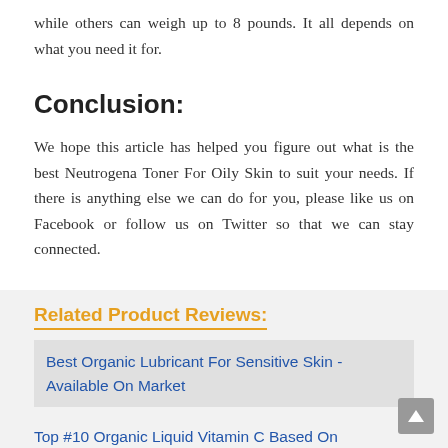while others can weigh up to 8 pounds. It all depends on what you need it for.
Conclusion:
We hope this article has helped you figure out what is the best Neutrogena Toner For Oily Skin to suit your needs. If there is anything else we can do for you, please like us on Facebook or follow us on Twitter so that we can stay connected.
Related Product Reviews:
Best Organic Lubricant For Sensitive Skin - Available On Market
Top #10 Organic Liquid Vitamin C Based On